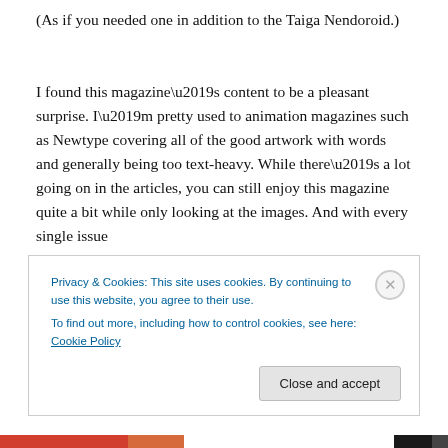(As if you needed one in addition to the Taiga Nendoroid.)
I found this magazine’s content to be a pleasant surprise. I’m pretty used to animation magazines such as Newtype covering all of the good artwork with words and generally being too text-heavy. While there’s a lot going on in the articles, you can still enjoy this magazine quite a bit while only looking at the images. And with every single issue
Privacy & Cookies: This site uses cookies. By continuing to use this website, you agree to their use.
To find out more, including how to control cookies, see here: Cookie Policy
Close and accept